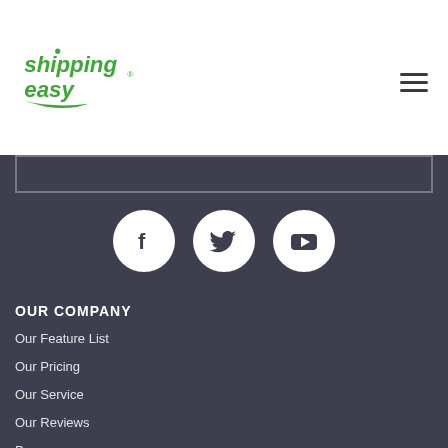[Figure (logo): ShippingEasy logo in green]
[Figure (illustration): Hamburger menu icon (three horizontal lines)]
[Figure (illustration): Social media icons: Facebook, Twitter, YouTube in white circles on dark background]
OUR COMPANY
Our Feature List
Our Pricing
Our Service
Our Reviews
Press
ShippingNow™
ShipNow™
Careers | Jobs